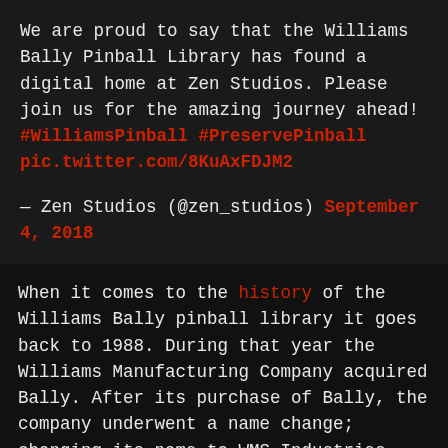We are proud to say that the Williams Bally Pinball Library has found a digital home at Zen Studios. Please join us for the amazing journey ahead! #WilliamsPinball #PreservePinball pic.twitter.com/8KuAxFDJM2
— Zen Studios (@zen_studios) September 4, 2018
When it comes to the history of the Williams Bally pinball library it goes back to 1988. During that year the Williams Manufacturing Company acquired Bally. After its purchase of Bally, the company underwent a name change; changing its name to WMS Industries. The merger between the